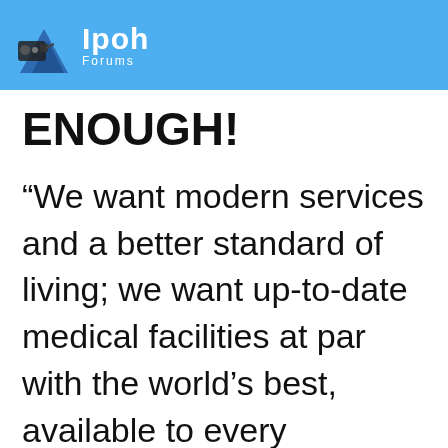Ipoh Forums
ENOUGH!
“We want modern services and a better standard of living; we want up-to-date medical facilities at par with the world’s best, available to every Malaysian. We desire strong and efficient